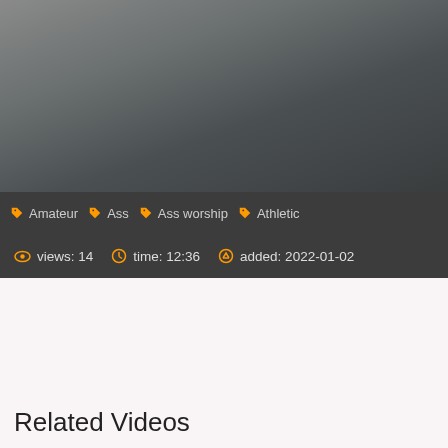[Figure (screenshot): Video player screenshot showing a woman in athletic wear in a room, with a dark overlay bar at the bottom containing tag pills and metadata]
Amateur   Ass   Ass worship   Athletic
views: 14   time: 12:36   added: 2022-01-02
Related Videos